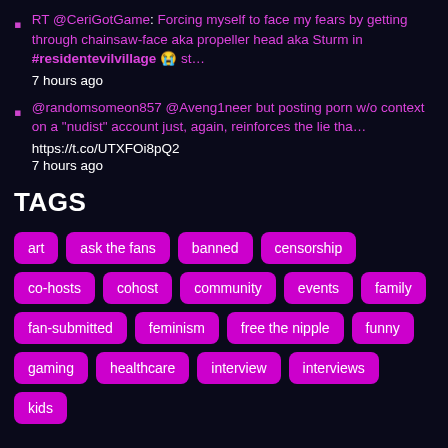RT @CeriGotGame: Forcing myself to face my fears by getting through chainsaw-face aka propeller head aka Sturm in #residentevilvillage 😭 st… 7 hours ago
@randomsomeon857 @Aveng1neer but posting porn w/o context on a "nudist" account just, again, reinforces the lie tha… https://t.co/UTXFOi8pQ2 7 hours ago
TAGS
art ask the fans banned censorship co-hosts cohost community events family fan-submitted feminism free the nipple funny gaming healthcare interview interviews kids